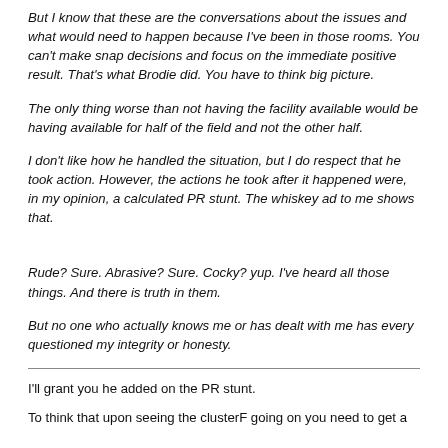But I know that these are the conversations about the issues and what would need to happen because I've been in those rooms. You can't make snap decisions and focus on the immediate positive result. That's what Brodie did. You have to think big picture.
The only thing worse than not having the facility available would be having available for half of the field and not the other half.
I don't like how he handled the situation, but I do respect that he took action. However, the actions he took after it happened were, in my opinion, a calculated PR stunt. The whiskey ad to me shows that.
Rude? Sure. Abrasive? Sure. Cocky? yup. I've heard all those things. And there is truth in them.
But no one who actually knows me or has dealt with me has every questioned my integrity or honesty.
I'll grant you he added on the PR stunt.
To think that upon seeing the clusterF going on you need to get a